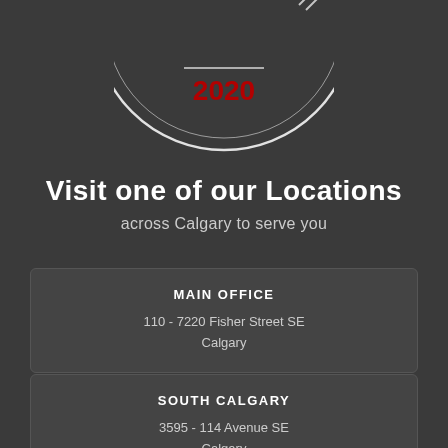[Figure (logo): Partial circular logo/badge with white outline on dark background, '2020' in red text in the center]
Visit one of our Locations
across Calgary to serve you
MAIN OFFICE
110 - 7220 Fisher Street SE
Calgary
SOUTH CALGARY
3595 - 114 Avenue SE
Calgary